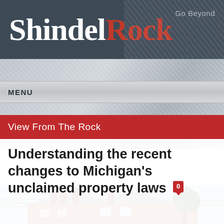ShindelRock — Go Beyond
MENU
View From The Rock
Understanding the recent changes to Michigan's unclaimed property laws
[Figure (photo): Photograph of a red brick house with chimneys and trees]